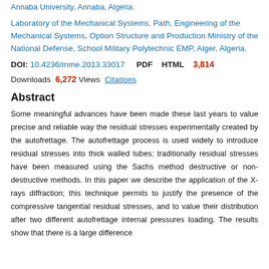Annaba University, Annaba, Algeria.
Laboratory of the Mechanical Systems, Path, Engineering of the Mechanical Systems, Option Structure and Production Ministry of the National Defense, School Military Polytechnic EMP, Alger, Algeria.
DOI: 10.4236/mme.2013.33017  PDF  HTML  3,814
Downloads  6,272 Views  Citations
Abstract
Some meaningful advances have been made these last years to value precise and reliable way the residual stresses experimentally created by the autofrettage. The autofrettage process is used widely to introduce residual stresses into thick walled tubes; traditionally residual stresses have been measured using the Sachs method destructive or non-destructive methods. In this paper we describe the application of the X-rays diffraction; this technique permits to justify the presence of the compressive tangential residual stresses, and to value their distribution after two different autofrettage internal pressures loading. The results show that there is a large difference